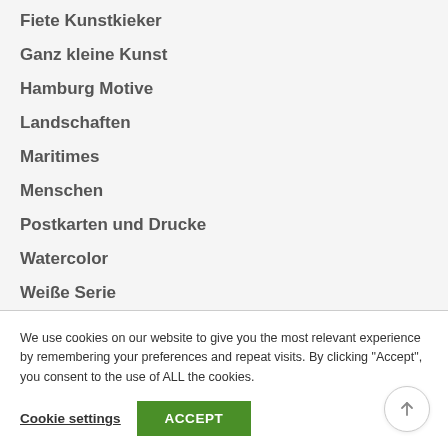Fiete Kunstkieker
Ganz kleine Kunst
Hamburg Motive
Landschaften
Maritimes
Menschen
Postkarten und Drucke
Watercolor
Weiße Serie
We use cookies on our website to give you the most relevant experience by remembering your preferences and repeat visits. By clicking "Accept", you consent to the use of ALL the cookies.
Cookie settings  ACCEPT